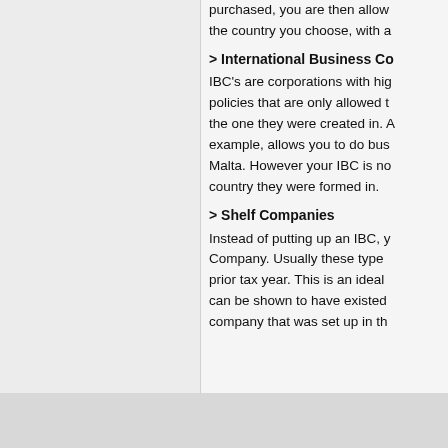purchased, you are then allow the country you choose, with a
> International Business Co
IBC's are corporations with hig policies that are only allowed t the one they were created in. A example, allows you to do bus Malta. However your IBC is no country they were formed in.
> Shelf Companies
Instead of putting up an IBC, y Company. Usually these type prior tax year. This is an ideal can be shown to have existed company that was set up in th